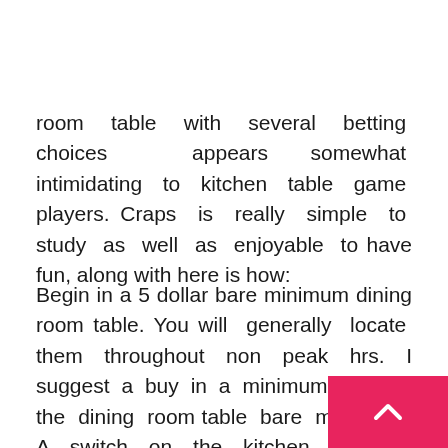room table with several betting choices appears somewhat intimidating to kitchen table game players. Craps is really simple to study as well as enjoyable to have fun, along with here is how:
Begin in a 5 dollar bare minimum dining room table. You will generally locate them throughout non peak hrs. I suggest a buy in a minimum of 20X the dining room table bare minimum. A switch on the kitchen table is going to read ON or maybe OFF. When it's located in the OFF job, insert the money of yours on the kitchen table and get the dealer for five dolars potato chips. You are going to see experienced players producing